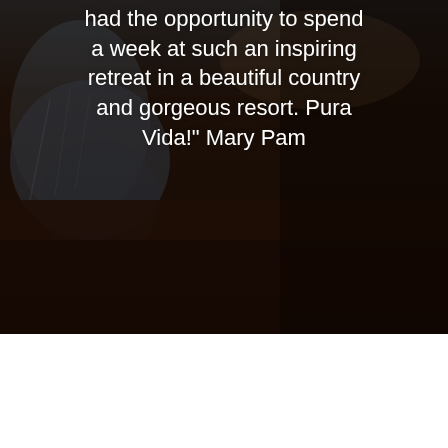[Figure (photo): Dark atmospheric photo showing a person in a blue top, blurred background with warm dark brown tones (wood or earth surface). White text overlay with a testimonial quote.]
had the opportunity to spend a week at such an inspiring retreat in a beautiful country and gorgeous resort. Pura Vida!" Mary Pam